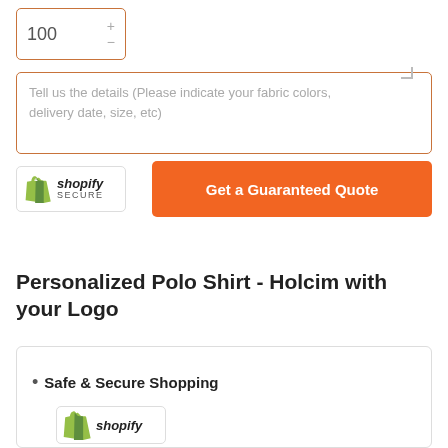100
Tell us the details (Please indicate your fabric colors, delivery date, size, etc)
[Figure (logo): Shopify Secure badge with green shopping bag logo]
Get a Guaranteed Quote
Personalized Polo Shirt - Holcim with your Logo
Safe & Secure Shopping
[Figure (logo): Shopify logo with green shopping bag, partially visible at bottom]